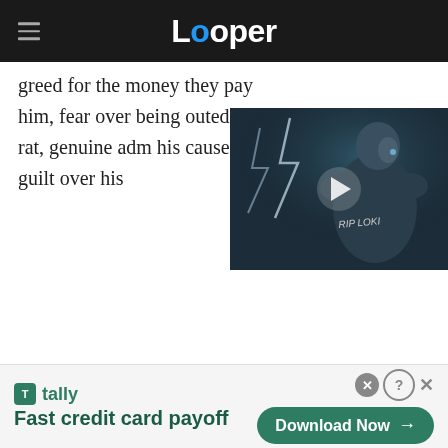Looper
greed for the money they pay him, fear over being outed as a rat, genuine adm his cause, and guilt over his
[Figure (screenshot): Video thumbnail showing a man with 'RIP LOKI' written on his back, with lightning in the background. A play button is overlaid in the center.]
[Figure (infographic): Advertisement banner for Tally app: 'Fast credit card payoff' with a Download Now button]